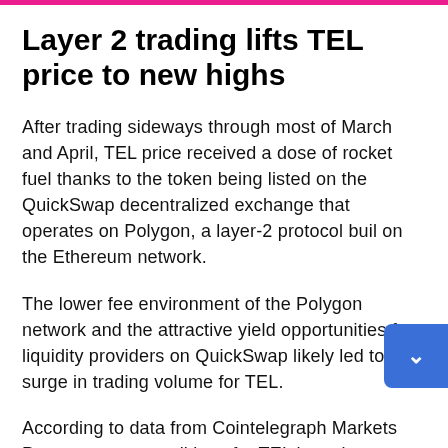Layer 2 trading lifts TEL price to new highs
After trading sideways through most of March and April, TEL price received a dose of rocket fuel thanks to the token being listed on the QuickSwap decentralized exchange that operates on Polygon, a layer-2 protocol buil on the Ethereum network.
The lower fee environment of the Polygon network and the attractive yield opportunities for liquidity providers on QuickSwap likely led to the surge in trading volume for TEL.
According to data from Cointelegraph Markets Pro, m conditions for TEL have been favorable for some time.
The VORTECS™ Score, exclusive to Cointelegraph, is an